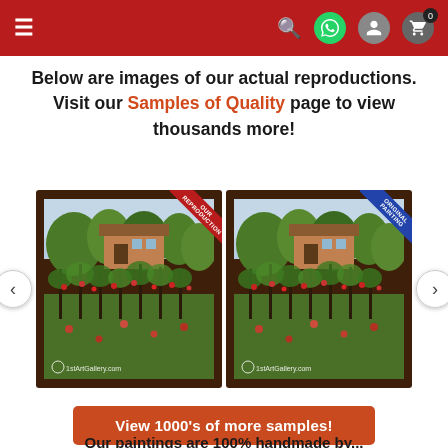Navigation header with hamburger menu, search, WhatsApp, user, and cart icons
Below are images of our actual reproductions. Visit our Samples of Quality page to view thousands more!
[Figure (photo): Two framed garden paintings side by side - left labeled 'Our Reproduction' with red ribbon, right labeled 'Original Painting' with blue ribbon. Both show a garden scene with trees and a house. Both watermarked '1stArtGallery.com'. Navigation arrows on left and right sides.]
View 1000's of more samples!
Our paintings are 100% handmade by...